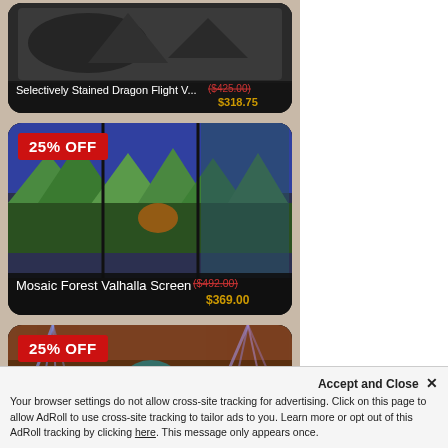[Figure (photo): Product card (partial, top) for 'Selectively Stained Dragon Flight V...' showing glass art piece. Original price ($425.00) crossed out, sale price $318.75.]
[Figure (photo): Product card for 'Mosaic Forest Valhalla Screen' with 25% OFF badge. Shows triptych glass art with forest/mountain scene. Original price ($492.00) crossed out, sale price $369.00.]
[Figure (photo): Product card for 'Glacial Dragon Valhalla Screen' with 25% OFF badge. Shows triptych glass art with dragon design in blue/teal/purple. Partially shown, price cut off at bottom.]
Your browser settings do not allow cross-site tracking for advertising. Click on this page to allow AdRoll to use cross-site tracking to tailor ads to you. Learn more or opt out of this AdRoll tracking by clicking here. This message only appears once.